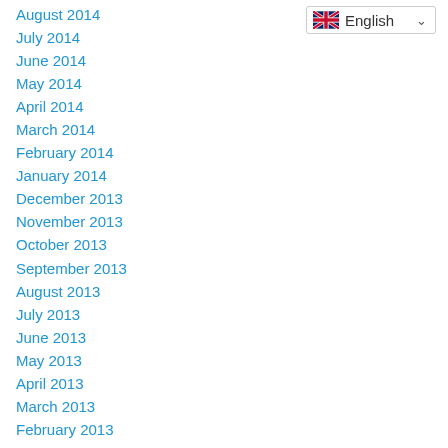[Figure (screenshot): Language selector dropdown with UK flag and 'English' label]
August 2014
July 2014
June 2014
May 2014
April 2014
March 2014
February 2014
January 2014
December 2013
November 2013
October 2013
September 2013
August 2013
July 2013
June 2013
May 2013
April 2013
March 2013
February 2013
January 2013